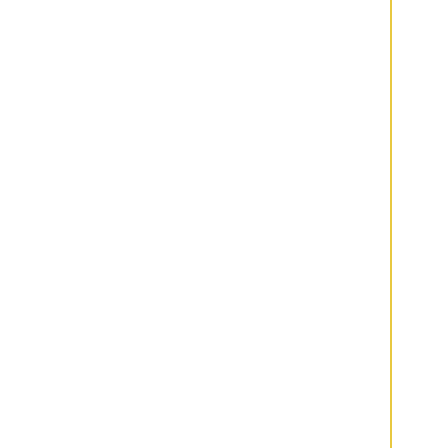But I prefer to wor...
Min r...
I charge for my se...
Minimum cha...
And my minimum ...
Official Transla...
I have not obtained an official t... high-qual...
T...
I have been work...
I provide the following services: Copywriting, Progra...